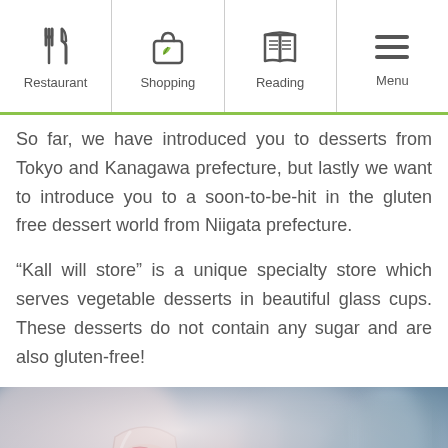Restaurant | Shopping | Reading | Menu
So far, we have introduced you to desserts from Tokyo and Kanagawa prefecture, but lastly we want to introduce you to a soon-to-be-hit in the gluten free dessert world from Niigata prefecture.
“Kall will store” is a unique specialty store which serves vegetable desserts in beautiful glass cups. These desserts do not contain any sugar and are also gluten-free!
[Figure (photo): Photo of a vegetable dessert served in a glass cup, with blurred background showing glass cups. Pink/red tones with light reflection.]